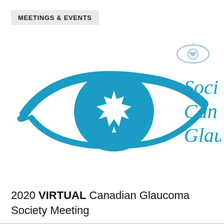MEETINGS & EVENTS
[Figure (logo): Canadian Glaucoma Society logo: an eye shape in blue with a maple leaf inside a circle as the pupil, accompanied by partial text 'Soci Can Glau' on the right side, and a small eye-with-heart icon in the upper right]
2020 VIRTUAL Canadian Glaucoma Society Meeting